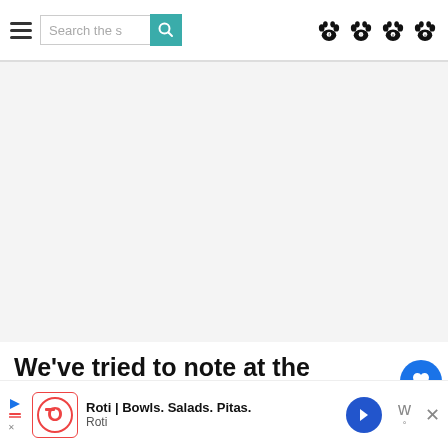Search the s [search button] [paw icons]
[Figure (other): Large white/light gray blank content area, likely an advertisement or image placeholder]
We've tried to note at the beginning of each Gaudí site description below which ones are covered by which pas... b... as... w...
[Figure (other): Ad banner: Roti | Bowls. Salads. Pitas. with logo, navigation arrow, close button]